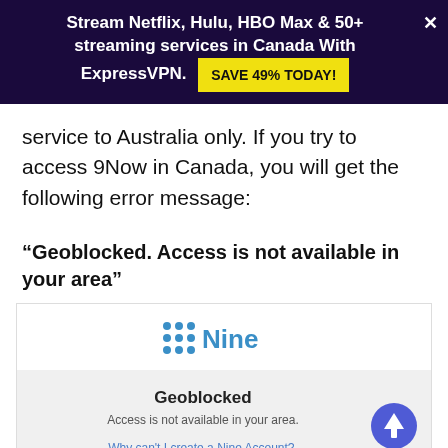Stream Netflix, Hulu, HBO Max & 50+ streaming services in Canada With ExpressVPN. SAVE 49% TODAY!
service to Australia only. If you try to access 9Now in Canada, you will get the following error message:
“Geoblocked. Access is not available in your area”
[Figure (logo): Nine network logo showing dots arranged as '9' and the word 'Nine' in blue]
[Figure (screenshot): Geoblocked error screen showing 'Geoblocked. Access is not available in your area.' with a link 'Why can't I create a Nine Account?' and a blue circular arrow-up icon]